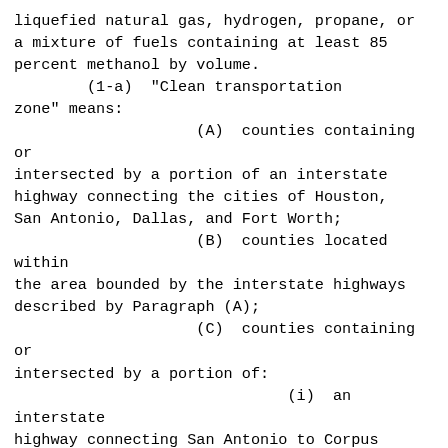liquefied natural gas, hydrogen, propane, or a mixture of fuels containing at least 85 percent methanol by volume.
        (1-a)  "Clean transportation zone" means:
                    (A)  counties containing or intersected by a portion of an interstate highway connecting the cities of Houston, San Antonio, Dallas, and Fort Worth;
                    (B)  counties located within the area bounded by the interstate highways described by Paragraph (A);
                    (C)  counties containing or intersected by a portion of:
                              (i)  an interstate highway connecting San Antonio to Corpus Christi or Laredo;
                              (ii)  the most direct route using highways in the state highway